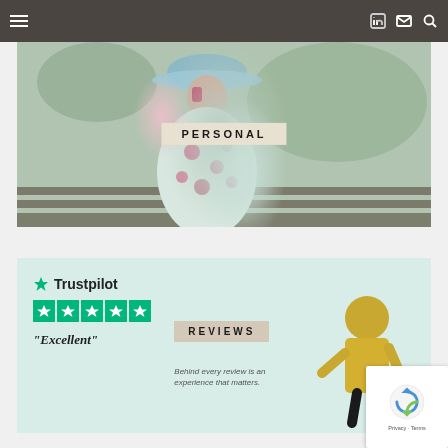Navigation header with hamburger menu, LinkedIn, email, and search icons
[Figure (photo): Fashion photo of a woman wearing a floral dress and wide-brim hat, with a 'PERSONAL' label overlay]
[Figure (photo): Trustpilot 'Excellent' review banner with 5 green stars, 'REVIEWS' label overlay, man in yellow shirt, tagline: Behind every review is an experience that matters.]
[Figure (other): Google reCAPTCHA badge with Privacy - Terms links]